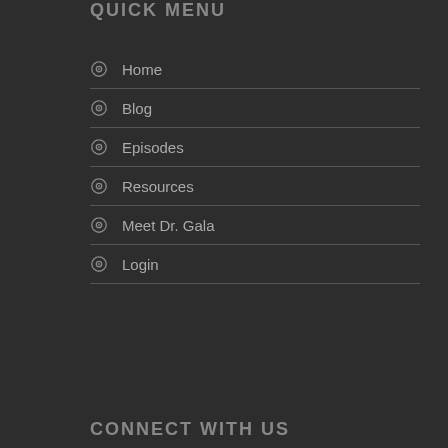QUICK MENU
Home
Blog
Episodes
Resources
Meet Dr. Gala
Login
CONNECT WITH US